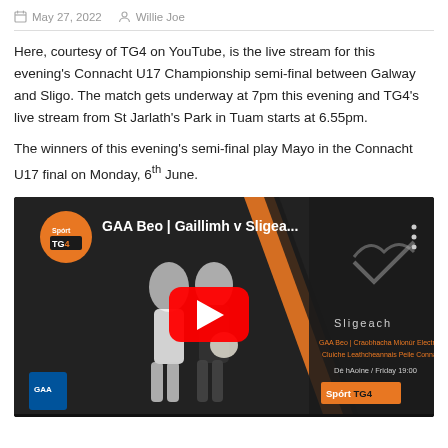May 27, 2022   Willie Joe
Here, courtesy of TG4 on YouTube, is the live stream for this evening's Connacht U17 Championship semi-final between Galway and Sligo. The match gets underway at 7pm this evening and TG4's live stream from St Jarlath's Park in Tuam starts at 6.55pm.
The winners of this evening's semi-final play Mayo in the Connacht U17 final on Monday, 6th June.
[Figure (screenshot): YouTube video thumbnail for 'GAA Beo | Gaillimh v Sligea...' showing two GAA footballers running with a ball, a YouTube play button overlay, and TG4 Sport branding. Right side shows text: Sligeach, GAA Beo | Craobhacha Mionúr Electric Ireland, Cluiche Leathcheannais Peile Connacht, Dé hAoine / Friday 19:00, Spórt TG4 logo.]